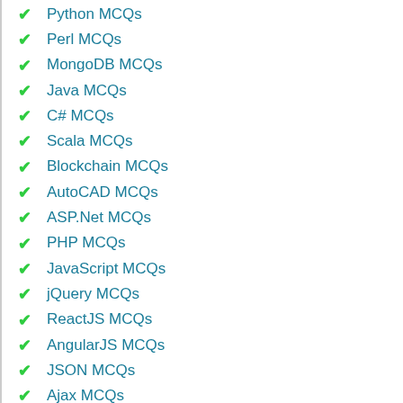Python MCQs
Perl MCQs
MongoDB MCQs
Java MCQs
C# MCQs
Scala MCQs
Blockchain MCQs
AutoCAD MCQs
ASP.Net MCQs
PHP MCQs
JavaScript MCQs
jQuery MCQs
ReactJS MCQs
AngularJS MCQs
JSON MCQs
Ajax MCQs
SASS MCQs
HTML MCQs
Advanced CSS MCQs